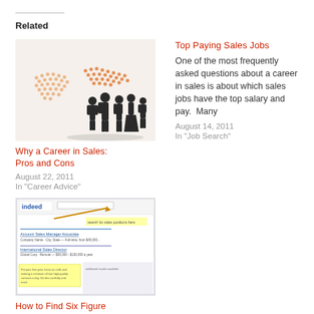Related
[Figure (photo): Business people silhouettes with world map graphic in orange/red dot pattern]
Why a Career in Sales: Pros and Cons
August 22, 2011
In "Career Advice"
Top Paying Sales Jobs
One of the most frequently asked questions about a career in sales is about which sales jobs have the top salary and pay.  Many
August 14, 2011
In "Job Search"
[Figure (screenshot): Screenshot of Indeed.com job search website with yellow highlighted search results]
How to Find Six Figure Sales Jobs
September 4, 2011
In "Job Search"